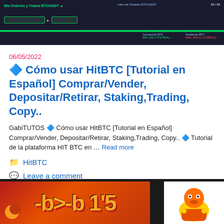[Figure (screenshot): HitBTC trading platform interface screenshot showing order book and trading panels on dark background with green accents]
06/05/2022
🔷 Cómo usar HitBTC [Tutorial en Español] Comprar/Vender, Depositar/Retirar, Staking,Trading, Copy..
GabiTUTOS 🔷 Cómo usar HitBTC [Tutorial en Español] Comprar/Vender, Depositar/Retirar, Staking,Trading, Copy.. 🔷 Tutorial de la plataforma HIT BTC en … Read more
HitBTC
Leave a comment
[Figure (screenshot): Bottom banner showing crypto/bitcoin related imagery with yellow text logo on dark red/orange background on the left, and a cartoon character image on the right]